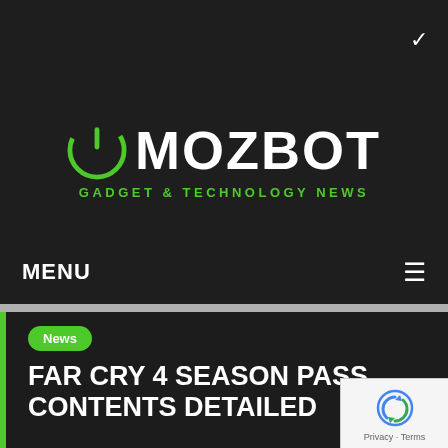[Figure (logo): Mozbot logo with power button icon and tagline 'Gadget & Technology News']
MENU
FAR CRY 4 SEASON PASS CONTENTS DETAILED
News